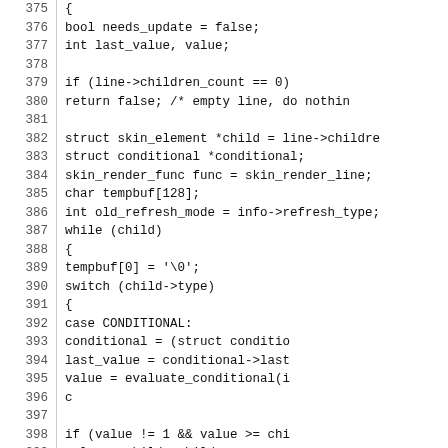Source code listing, lines 375-405, C code for skin rendering logic.